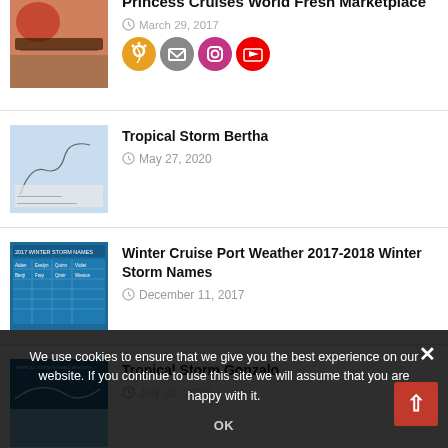Princess Cruises World Fresh Marketplace
March 29, 2017
Tropical Storm Bertha
May 27, 2020
Winter Cruise Port Weather 2017-2018 Winter Storm Names
December 11, 2017
Tropical Storm Gonzalo
July 20, 2020
Tropical Storm Gert Becomes Category Hurricane Off South Carolina Coast
We use cookies to ensure that we give you the best experience on our website. If you continue to use this site we will assume that you are happy with it.
OK